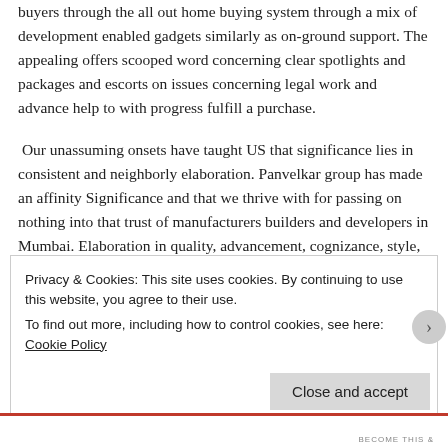buyers through the all out home buying system through a mix of development enabled gadgets similarly as on-ground support. The appealing offers scooped word concerning clear spotlights and packages and escorts on issues concerning legal work and advance help to with progress fulfill a purchase.
Our unassuming onsets have taught US that significance lies in consistent and neighborly elaboration. Panvelkar group has made an affinity Significance and that we thrive with for passing on nothing into that trust of manufacturers builders and developers in Mumbai. Elaboration in quality, advancement, cognizance, style, and most limit in a general
Privacy & Cookies: This site uses cookies. By continuing to use this website, you agree to their use.
To find out more, including how to control cookies, see here: Cookie Policy
Close and accept